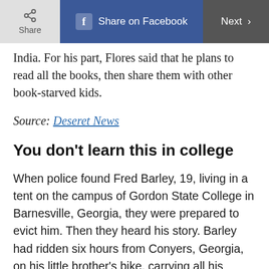Share | Share on Facebook | Next
India. For his part, Flores said that he plans to read all the books, then share them with other book-starved kids.
Source: Deseret News
You don't learn this in college
When police found Fred Barley, 19, living in a tent on the campus of Gordon State College in Barnesville, Georgia, they were prepared to evict him. Then they heard his story. Barley had ridden six hours from Conyers, Georgia, on his little brother's bike, carrying all his possessions—a duffel